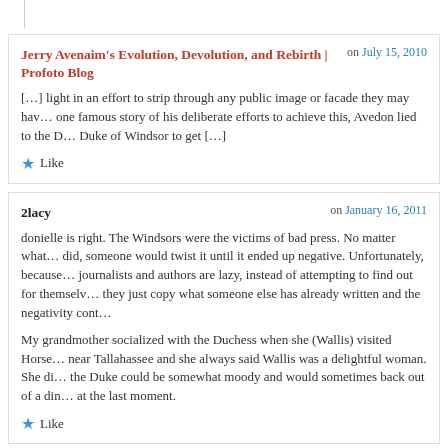Jerry Avenaim's Evolution, Devolution, and Rebirth | Profoto Blog on July 15, 2010
[…] light in an effort to strip through any public image or facade they may have. In one famous story of his deliberate efforts to achieve this, Avedon lied to the Duke of Windsor to get […]
Like
2lacy on January 16, 2011
donielle is right. The Windsors were the victims of bad press. No matter what they did, someone would twist it until it ended up negative. Unfortunately, because journalists and authors are lazy, instead of attempting to find out for themselves, they just copy what someone else has already written and the negativity cont…
My grandmother socialized with the Duchess when she (Wallis) visited Horse… near Tallahassee and she always said Wallis was a delightful woman. She di… the Duke could be somewhat moody and would sometimes back out of a din… at the last moment.
Like